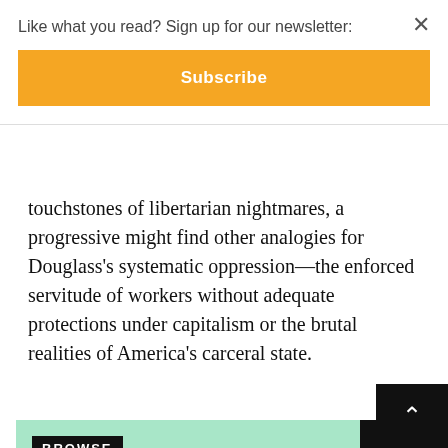Like what you read? Sign up for our newsletter:
Subscribe
touchstones of libertarian nightmares, a progressive might find other analogies for Douglass’s systematic oppression—the enforced servitude of workers without adequate protections under capitalism or the brutal realities of America’s carceral state.
[Figure (infographic): Browse banner with green background. Label: BROWSE. Title: REWRITING THE HISTORY OF RACIST IDEAS. Author: BY PERO GAGLO DAGBOVIE. Right side black panel with white chevron arrow.]
Sandefur certainly identifies racism as one form of injustice affecting Douglass’s thought, but compared to